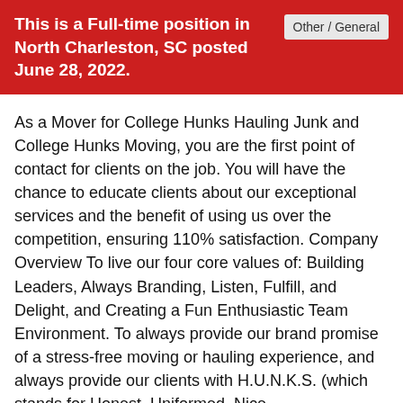This is a Full-time position in North Charleston, SC posted June 28, 2022.
As a Mover for College Hunks Hauling Junk and College Hunks Moving, you are the first point of contact for clients on the job. You will have the chance to educate clients about our exceptional services and the benefit of using us over the competition, ensuring 110% satisfaction. Company Overview To live our four core values of: Building Leaders, Always Branding, Listen, Fulfill, and Delight, and Creating a Fun Enthusiastic Team Environment. To always provide our brand promise of a stress-free moving or hauling experience, and always provide our clients with H.U.N.K.S. (which stands for Honest, Uniformed, Nice, Knowledgeable, Service). Job Summary Do you enjoy a fast-paced, multi-faceted work environment where you get to be exposed to different types of professional work like Sales, Marketing, Logistics, Customer Service, Equipment operations, project management, conflict resolution, and communication? If so, we have an incredible opportunity with excellent growth potential. You will be involved in learning techniques on how to develop rapport, establish value while having a sense of accomplishment each day There is no